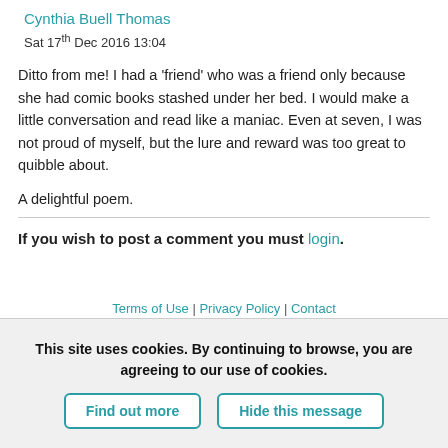Cynthia Buell Thomas
Sat 17th Dec 2016 13:04
Ditto from me! I had a 'friend' who was a friend only because she had comic books stashed under her bed. I would make a little conversation and read like a maniac. Even at seven, I was not proud of myself, but the lure and reward was too great to quibble about.
A delightful poem.
If you wish to post a comment you must login.
Terms of Use | Privacy Policy | Contact
This site uses cookies. By continuing to browse, you are agreeing to our use of cookies.